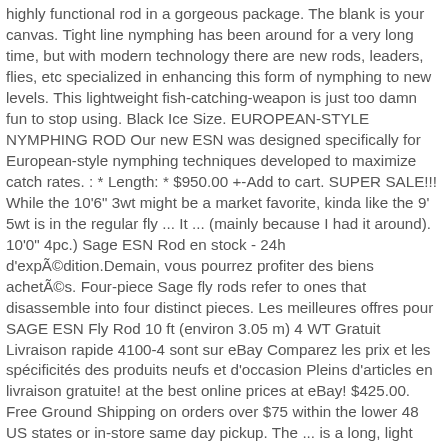highly functional rod in a gorgeous package. The blank is your canvas. Tight line nymphing has been around for a very long time, but with modern technology there are new rods, leaders, flies, etc specialized in enhancing this form of nymphing to new levels. This lightweight fish-catching-weapon is just too damn fun to stop using. Black Ice Size. EUROPEAN-STYLE NYMPHING ROD Our new ESN was designed specifically for European-style nymphing techniques developed to maximize catch rates. : * Length: * $950.00 +-Add to cart. SUPER SALE!!! While the 10'6" 3wt might be a market favorite, kinda like the 9' 5wt is in the regular fly ... It ... (mainly because I had it around). 10'0" 4pc.) Sage ESN Rod en stock - 24h d'expédition.Demain, vous pourrez profiter des biens achetés. Four-piece Sage fly rods refer to ones that disassemble into four distinct pieces. Les meilleures offres pour SAGE ESN Fly Rod 10 ft (environ 3.05 m) 4 WT Gratuit Livraison rapide 4100-4 sont sur eBay Comparez les prix et les spécificités des produits neufs et d'occasion Pleins d'articles en livraison gratuite! at the best online prices at eBay! $425.00. Free Ground Shipping on orders over $75 within the lower 48 US states or in-store same day pickup. The ... is a long, light line weight size for European Style Nymphing for trout. We don't know when or if this item will be back in stock. You choose a fly rod with your